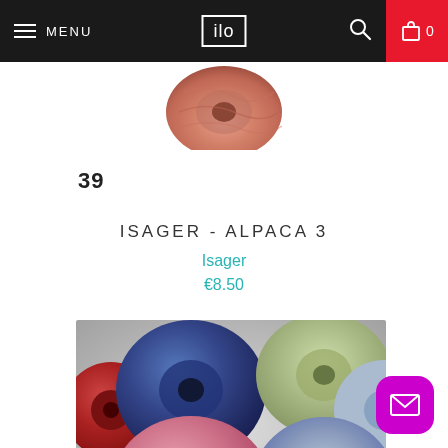MENU | ilo | 0
[Figure (photo): Partial view of a pinkish-orange yarn skein cropped at the top]
39
ISAGER - ALPACA 3
Isager
€8.50
[Figure (photo): Multiple colorful yarn spools/bobbins in navy blue, pale green, pink/rose, light blue, and purple arranged closely together]
[Figure (other): Magenta rounded square mail/envelope icon button in bottom right corner]